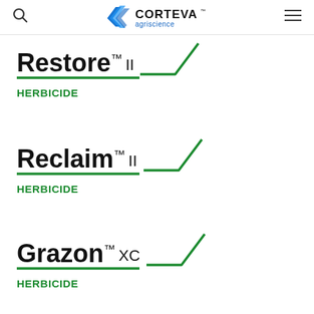Corteva Agriscience — navigation bar with search and menu icons
[Figure (logo): Corteva Agriscience logo — blue leaf/chevron mark with CORTEVA in bold black and agriscience in blue below]
Restore™ II HERBICIDE
Reclaim™ II HERBICIDE
Grazon™ XC HERBICIDE